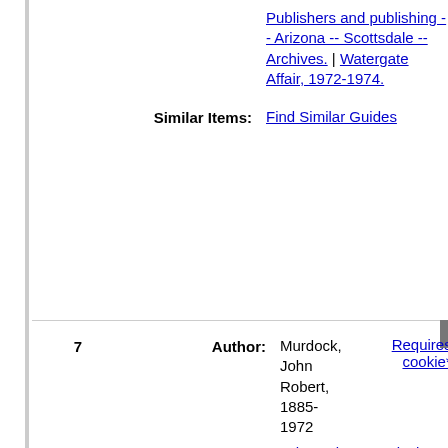Publishers and publishing -- Arizona -- Scottsdale -- Archives. | Watergate Affair, 1972-1974.
Similar Items: Find Similar Guides
7  Author: Murdock, John Robert, 1885-1972  Requires cookie*
Title: John Robert Murdock Collection 1917-1963 1942-1950 ead
Date(s): 1917-1963
Abstract: The John Robert Murdock Collection consists of correspondence, news clippings, radio broadcast scripts and speeches, election returns